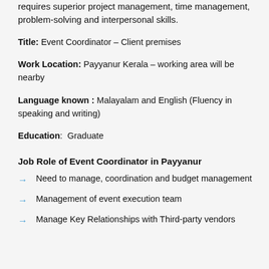requires superior project management, time management, problem-solving and interpersonal skills.
Title: Event Coordinator – Client premises
Work Location: Payyanur Kerala – working area will be nearby
Language known : Malayalam and English (Fluency in speaking and writing)
Education: Graduate
Job Role of Event Coordinator in Payyanur
Need to manage, coordination and budget management
Management of event execution team
Manage Key Relationships with Third-party vendors